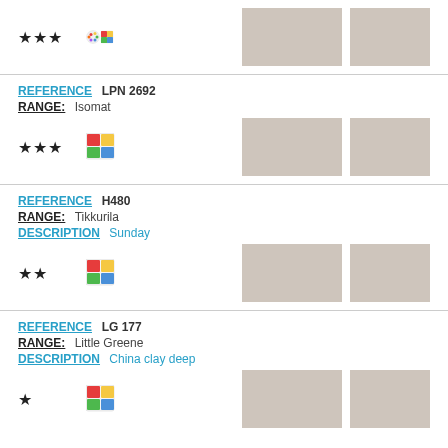[Figure (infographic): Stars rating (3 stars), palette icon, grid icon, two color swatches in beige/taupe]
REFERENCE LPN 2692
RANGE: Isomat
[Figure (infographic): Stars rating (3 stars), grid icon, two color swatches in beige/taupe]
REFERENCE H480
RANGE: Tikkurila
DESCRIPTION Sunday
[Figure (infographic): Stars rating (2 stars), grid icon, two color swatches in beige/taupe]
REFERENCE LG 177
RANGE: Little Greene
DESCRIPTION China clay deep
[Figure (infographic): Stars rating, grid icon, two color swatches in beige/taupe (partial, cut off)]